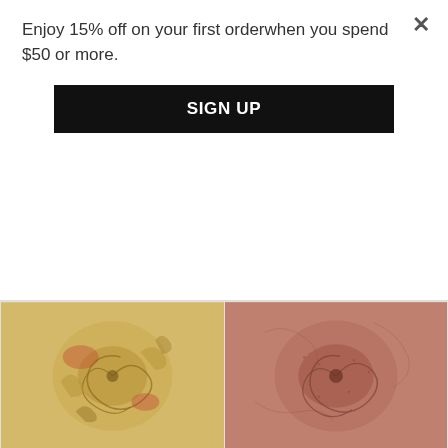Enjoy 15% off on your first orderwhen you spend $50 or more.
SIGN UP
[Figure (photo): Antique beige and multi-colored baroque patterned woven fabric, twisted and bunched]
Antique Beige/Multi Baroque ...
-Textured jacquard baroque pattern woven fabric-Weight: ...
SKU: DFW61884
$14.95 / Yard
[Figure (photo): Grapefruit pink texture chenille woven fabric, twisted and bunched]
Grapefruit Pink Texture Chenille ...
-Textured dobby chenille woven fabric-Weight: ...
SKU: DFW61775
$14.95 / Yard